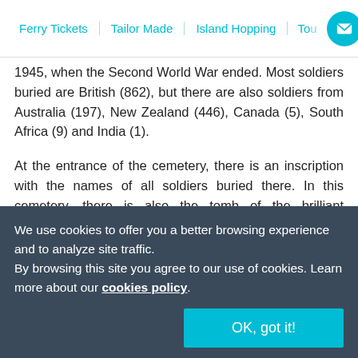Ferry Tickets | Tailor Made | Island Hopping | To...
1945, when the Second World War ended. Most soldiers buried are British (862), but there are also soldiers from Australia (197), New Zealand (446), Canada (5), South Africa (9) and India (1).
At the entrance of the cemetery, there is an inscription with the names of all soldiers buried there. In this cemetery, there is also the tomb of the brilliant archaeological John Pendlebury, curator of Knossos from 1930 to 1934, who continued in Crete the excavations started by Arthur Evans.
We use cookies to offer you a better browsing experience and to analyze site traffic.
By browsing this site you agree to our use of cookies. Learn more about our cookies policy.
OK, got it!